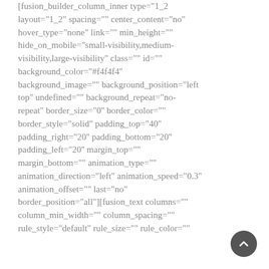[fusion_builder_column_inner type="1_2 layout="1_2" spacing="" center_content="no" hover_type="none" link="" min_height="" hide_on_mobile="small-visibility,medium-visibility,large-visibility" class="" id="" background_color="#f4f4f4'' background_image="" background_position="left top" undefined="" background_repeat="no-repeat" border_size="0'' border_color="" border_style="solid" padding_top="40'' padding_right="20'' padding_bottom="20'' padding_left="20'' margin_top="" margin_bottom="" animation_type="" animation_direction="left" animation_speed="0.3'' animation_offset="" last="no" border_position="all"][fusion_text columns="" column_min_width="" column_spacing="" rule_style="default" rule_size="" rule_color=""
[Figure (other): Circular scroll-to-top button with an upward chevron arrow, dark gray background]